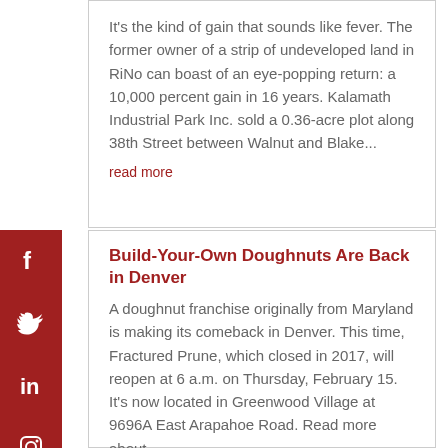It's the kind of gain that sounds like fever. The former owner of a strip of undeveloped land in RiNo can boast of an eye-popping return: a 10,000 percent gain in 16 years. Kalamath Industrial Park Inc. sold a 0.36-acre plot along 38th Street between Walnut and Blake...
read more
Build-Your-Own Doughnuts Are Back in Denver
A doughnut franchise originally from Maryland is making its comeback in Denver. This time, Fractured Prune, which closed in 2017, will reopen at 6 a.m. on Thursday, February 15. It's now located in Greenwood Village at 9696A East Arapahoe Road. Read more about...
read more